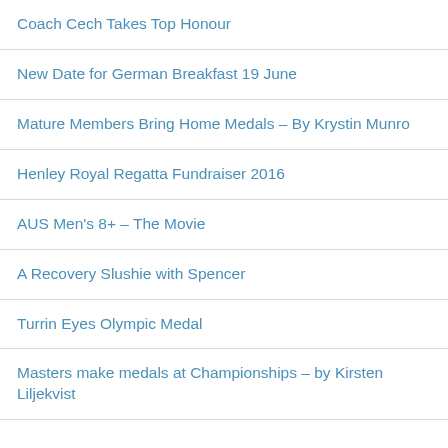Coach Cech Takes Top Honour
New Date for German Breakfast 19 June
Mature Members Bring Home Medals – By Krystin Munro
Henley Royal Regatta Fundraiser 2016
AUS Men's 8+ – The Movie
A Recovery Slushie with Spencer
Turrin Eyes Olympic Medal
Masters make medals at Championships – by Kirsten Liljekvist